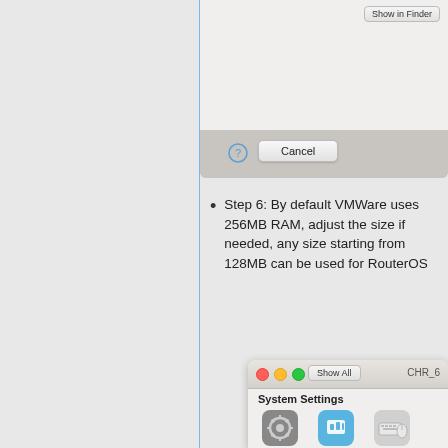[Figure (screenshot): Partial macOS dialog box showing a 'Show in Finder' button, white content area, gray bottom bar with a question mark circle and a Cancel button]
Step 6: By default VMWare uses 256MB RAM, adjust the size if needed, any size starting from 128MB can be used for RouterOS
[Figure (screenshot): macOS System Preferences window partial view showing traffic light buttons, Show All button, CHR_ label, System Settings header with General, Sharing, and Keyboard & Mouse icons]